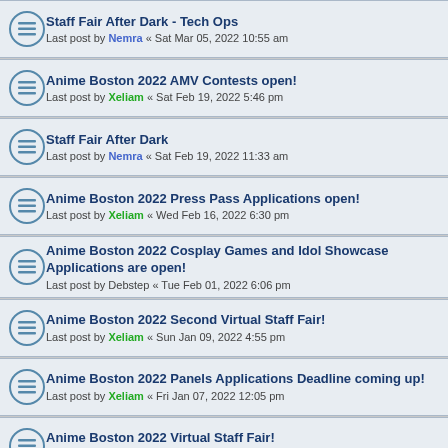Staff Fair After Dark - Tech Ops
Last post by Nemra « Sat Mar 05, 2022 10:55 am
Anime Boston 2022 AMV Contests open!
Last post by Xeliam « Sat Feb 19, 2022 5:46 pm
Staff Fair After Dark
Last post by Nemra « Sat Feb 19, 2022 11:33 am
Anime Boston 2022 Press Pass Applications open!
Last post by Xeliam « Wed Feb 16, 2022 6:30 pm
Anime Boston 2022 Cosplay Games and Idol Showcase Applications are open!
Last post by Debstep « Tue Feb 01, 2022 6:06 pm
Anime Boston 2022 Second Virtual Staff Fair!
Last post by Xeliam « Sun Jan 09, 2022 4:55 pm
Anime Boston 2022 Panels Applications Deadline coming up!
Last post by Xeliam « Fri Jan 07, 2022 12:05 pm
Anime Boston 2022 Virtual Staff Fair!
Last post by Xeliam « Sat Dec 11, 2021 5:52 pm
491 topics  1 2 3 4 5 ... 20
Jump to